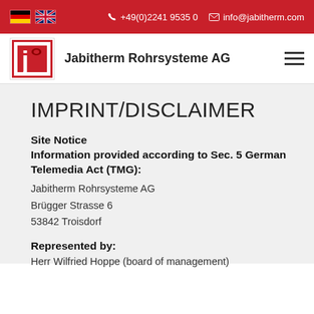+49(0)2241 9535 0  info@jabitherm.com
[Figure (logo): Jabitherm Rohrsysteme AG logo with red J icon]
IMPRINT/DISCLAIMER
Site Notice
Information provided according to Sec. 5 German Telemedia Act (TMG):
Jabitherm Rohrsysteme AG
Brügger Strasse 6
53842 Troisdorf
Represented by:
Herr Wilfried Hoppe (board of management)